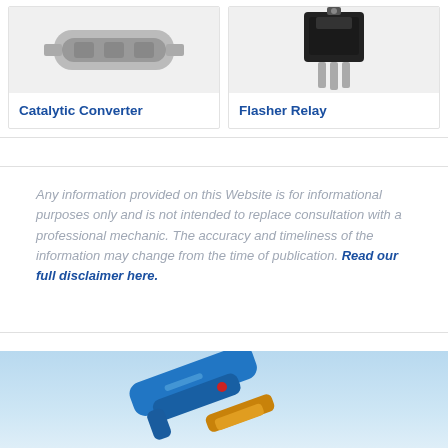[Figure (photo): Catalytic Converter product image]
Catalytic Converter
[Figure (photo): Flasher Relay product image showing a black relay with metal pins]
Flasher Relay
Any information provided on this Website is for informational purposes only and is not intended to replace consultation with a professional mechanic. The accuracy and timeliness of the information may change from the time of publication. Read our full disclaimer here.
[Figure (photo): Bottom image showing a blue and orange tool or component against a light sky background]